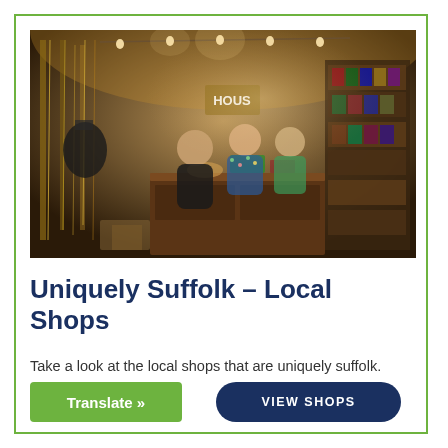[Figure (photo): Interior of a rustic gift/souvenir shop with warm lighting, string lights, jewelry displays, merchandise racks, and two women at a wooden counter. The shop has a warm, dimly lit atmosphere with many items hanging from the ceiling and walls.]
Uniquely Suffolk – Local Shops
Take a look at the local shops that are uniquely suffolk.
Translate »
VIEW SHOPS